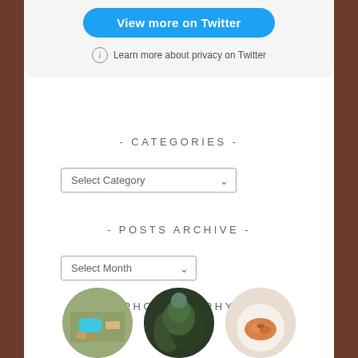[Figure (screenshot): Twitter 'View more on Twitter' button widget with blue rounded button and privacy info link below it, on a light gray card background]
- CATEGORIES -
[Figure (screenshot): Select Category dropdown input box]
- POSTS ARCHIVE -
[Figure (screenshot): Select Month dropdown input box]
- PHOTOGRAPHY -
[Figure (photo): Three circular cropped photos: aerial pool/resort view, trees/foliage, and a food dish on white plate, partially cut off at bottom]